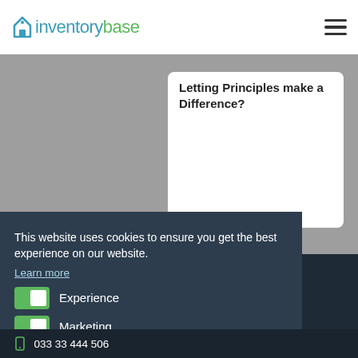[Figure (screenshot): InventoryBase website header with logo and hamburger menu on white navigation bar]
Letting Principles make a Difference?
This website uses cookies to ensure you get the best experience on our website.
Learn more
Experience
Marketing
Save Settings
Allow
033 33 444 506